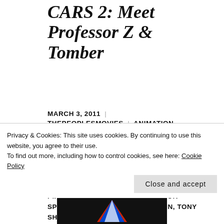CARS 2: Meet Professor Z & Tomber
MARCH 3, 2011 | THEPEOPLESMOVIES | ANIMATION, BONNIE HUNT, CARS, CARS 2, CHEECH MARIN, DISNEY MOVIES, JOHN RATZENBERGER, LARRY THE CABLE GUY, LIGHTNING MCQUEEN, MATER, MICHAEL CAINE, MICHAEL KEATON, MICHEL MICHELIS, NEWS, OWEN WILSON, PIXAR, PIXAR MOVIES, PREVIEW, RADIATOR SPRINGS, THOMAS KRETSCHMANN, TONY SHALHOUB | LEAVE A
Privacy & Cookies: This site uses cookies. By continuing to use this website, you agree to their use. To find out more, including how to control cookies, see here: Cookie Policy
Close and accept